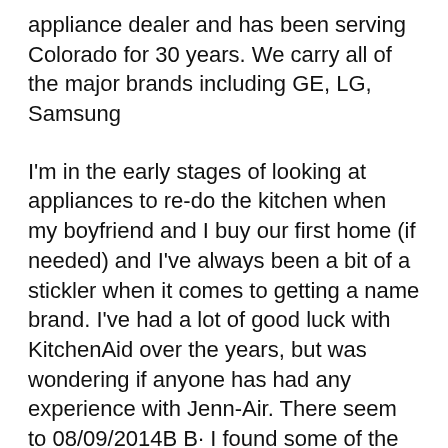appliance dealer and has been serving Colorado for 30 years. We carry all of the major brands including GE, LG, Samsung
I'm in the early stages of looking at appliances to re-do the kitchen when my boyfriend and I buy our first home (if needed) and I've always been a bit of a stickler when it comes to getting a name brand. I've had a lot of good luck with KitchenAid over the years, but was wondering if anyone has had any experience with Jenn-Air. There seem to 08/09/2014B B· I found some of the money by going from a Jenn air fridge to kitchen aid. Saved a lot of money that way. I know Jenn air has taken a beating